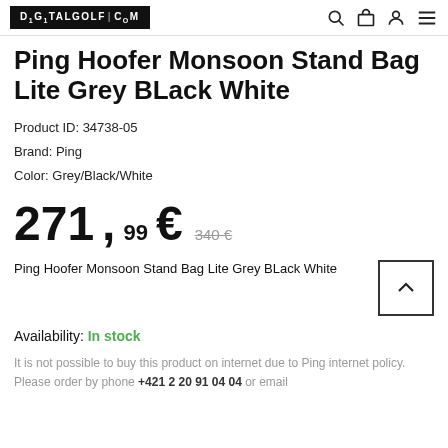DIGITALGOLF.COM
Ping Hoofer Monsoon Stand Bag Lite Grey BLack White
Product ID: 34738-05
Brand: Ping
Color: Grey/Black/White
271,99 € 340 €
Ping Hoofer Monsoon Stand Bag Lite Grey BLack White
Availability: In stock
It is not possible to buy this product on internet due to Ping internet policy. Please order by phone +421 2 20 91 04 04 or email